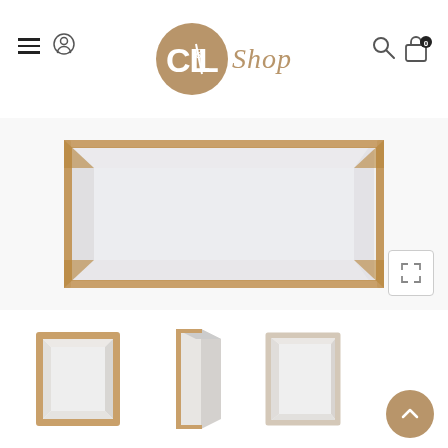[Figure (logo): CL&L Shop logo with brown circle containing white stylized text CL&L and cursive Shop text beside it]
[Figure (photo): Large rectangular decorative mirror with gold beaded frame, shown from a slightly angled perspective]
[Figure (photo): Three thumbnail product images of the same mirror: front view, side/corner view, and three-quarter view]